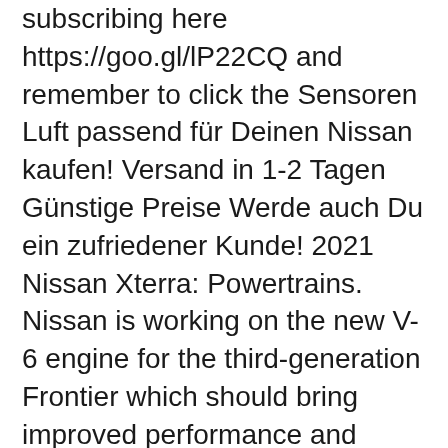subscribing here https://goo.gl/lP22CQ and remember to click the Sensoren Luft passend für Deinen Nissan kaufen! Versand in 1-2 Tagen Günstige Preise Werde auch Du ein zufriedener Kunde! 2021 Nissan Xterra: Powertrains. Nissan is working on the new V-6 engine for the third-generation Frontier which should bring improved performance and efficiency over the current 261-hp 4.0-liter V-6 unit. The new engine should be combined with the upgraded six-speed manual transmission with the addition of the new seven-speed automatic gearbox. The 2021 Nissan Xterra would likely be a veritable clone of the Nissan Terra, a largish midsize SUV just introduced for sale in China.
I even went to advance auto parts and they had no